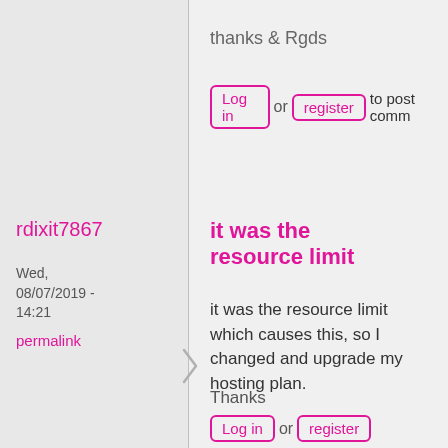thanks & Rgds
Log in or register to post comm
rdixit7867
Wed, 08/07/2019 - 14:21
permalink
it was the resource limit
it was the resource limit which causes this, so I changed and upgrade my hosting plan.
Thanks
Log in or register